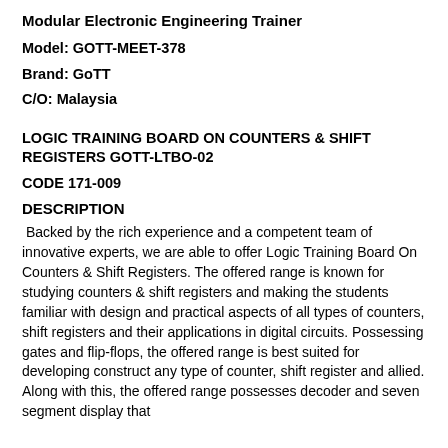Modular Electronic Engineering Trainer
Model: GOTT-MEET-378
Brand: GoTT
C/O: Malaysia
LOGIC TRAINING BOARD ON COUNTERS & SHIFT REGISTERS GOTT-LTBO-02
CODE 171-009
DESCRIPTION
Backed by the rich experience and a competent team of innovative experts, we are able to offer Logic Training Board On Counters & Shift Registers. The offered range is known for studying counters & shift registers and making the students familiar with design and practical aspects of all types of counters, shift registers and their applications in digital circuits. Possessing gates and flip-flops, the offered range is best suited for developing construct any type of counter, shift register and allied. Along with this, the offered range possesses decoder and seven segment display that